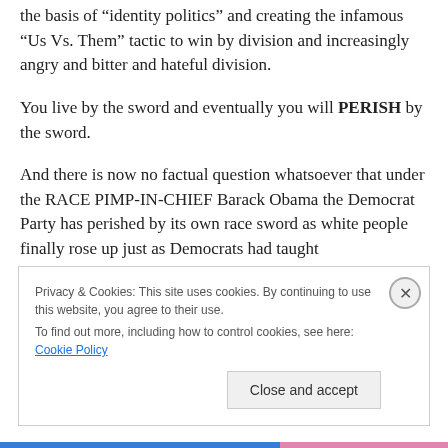the basis of “identity politics” and creating the infamous “Us Vs. Them” tactic to win by division and increasingly angry and bitter and hateful division.
You live by the sword and eventually you will PERISH by the sword.
And there is now no factual question whatsoever that under the RACE PIMP-IN-CHIEF Barack Obama the Democrat Party has perished by its own race sword as white people finally rose up just as Democrats had taught
Privacy & Cookies: This site uses cookies. By continuing to use this website, you agree to their use.
To find out more, including how to control cookies, see here: Cookie Policy